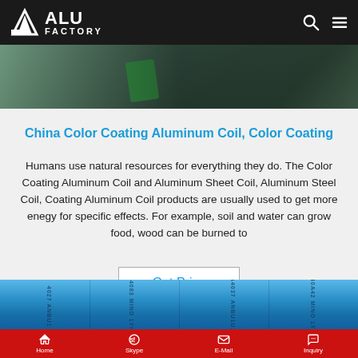ALU FACTORY
[Figure (photo): Close-up photo of aluminum coil with green protective tape on dark metallic background]
China Color Coating Aluminum Coil, Color Coating
Humans use natural resources for everything they do. The Color Coating Aluminum Coil and Aluminum Sheet Coil, Aluminum Steel Coil, Coating Aluminum Coil products are usually used to get more enegy for specific effects. For example, soil and water can grow food, wood can be burned to
Get Price
[Figure (photo): Blue color coated aluminum coils with printed text/labels on the surface]
Home  Skype  E-Mail  Inquiry